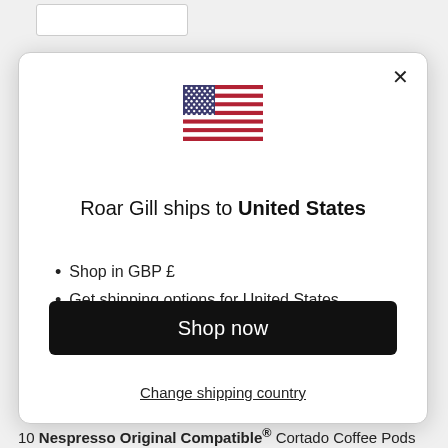[Figure (illustration): US flag emoji/icon centered in modal]
Roar Gill ships to United States
Shop in GBP £
Get shipping options for United States
Shop now
Change shipping country
10 Nespresso Original Compatible® Cortado Coffee Pods